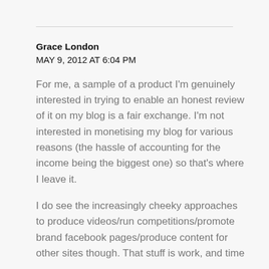Grace London
MAY 9, 2012 AT 6:04 PM
For me, a sample of a product I'm genuinely interested in trying to enable an honest review of it on my blog is a fair exchange. I'm not interested in monetising my blog for various reasons (the hassle of accounting for the income being the biggest one) so that's where I leave it.
I do see the increasingly cheeky approaches to produce videos/run competitions/promote brand facebook pages/produce content for other sites though. That stuff is work, and time